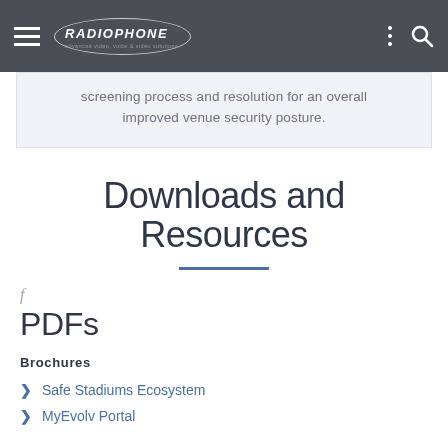Radiophone navigation bar
screening process and resolution for an overall improved venue security posture.
Downloads and Resources
PDFs
Brochures
Safe Stadiums Ecosystem
MyEvolv Portal